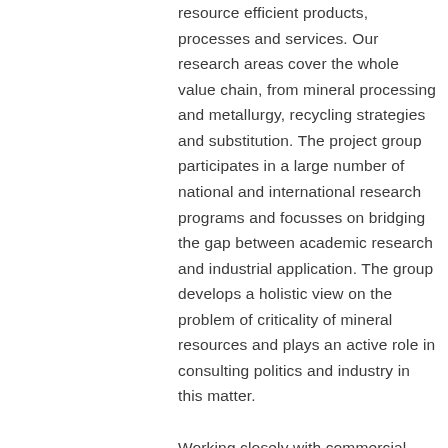resource efficient products, processes and services. Our research areas cover the whole value chain, from mineral processing and metallurgy, recycling strategies and substitution. The project group participates in a large number of national and international research programs and focusses on bridging the gap between academic research and industrial application. The group develops a holistic view on the problem of criticality of mineral resources and plays an active role in consulting politics and industry in this matter.

Working closely with commercial partners, the IWKS is developing innovative